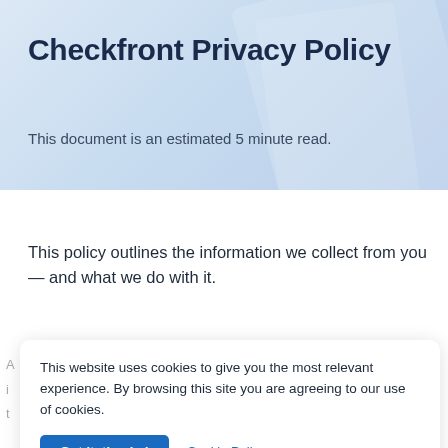Checkfront Privacy Policy
This document is an estimated 5 minute read.
This policy outlines the information we collect from you — and what we do with it.
This website uses cookies to give you the most relevant experience. By browsing this site you are agreeing to our use of cookies.
Got it, thanks!
Cookie Policy
truly need it.